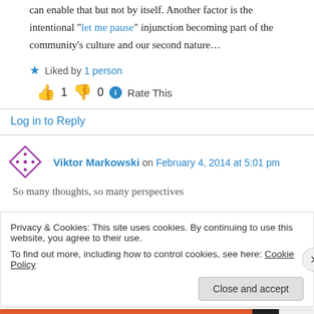can enable that but not by itself. Another factor is the intentional “let me pause” injunction becoming part of the community’s culture and our second nature…
★ Liked by 1 person
👍 1 👎 0 ℹ Rate This
Log in to Reply
Viktor Markowski on February 4, 2014 at 5:01 pm
So many thoughts, so many perspectives
Privacy & Cookies: This site uses cookies. By continuing to use this website, you agree to their use.
To find out more, including how to control cookies, see here: Cookie Policy
Close and accept